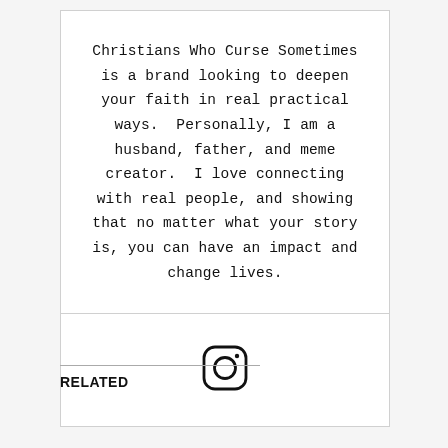Christians Who Curse Sometimes is a brand looking to deepen your faith in real practical ways.  Personally, I am a husband, father, and meme creator.  I love connecting with real people, and showing that no matter what your story is, you can have an impact and change lives.
[Figure (illustration): Instagram logo icon — rounded square outline with a circle and small dot, rendered in black on white background]
RELATED